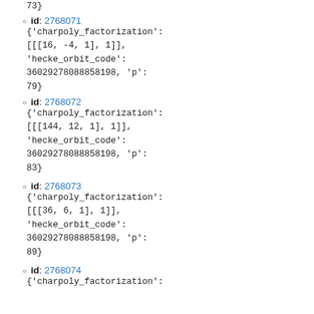73}
id: 2768071
{'charpoly_factorization': [[[16, -4, 1], 1]], 'hecke_orbit_code': 36029278088858198, 'p': 79}
id: 2768072
{'charpoly_factorization': [[[144, 12, 1], 1]], 'hecke_orbit_code': 36029278088858198, 'p': 83}
id: 2768073
{'charpoly_factorization': [[[36, 6, 1], 1]], 'hecke_orbit_code': 36029278088858198, 'p': 89}
id: 2768074
{'charpoly_factorization':